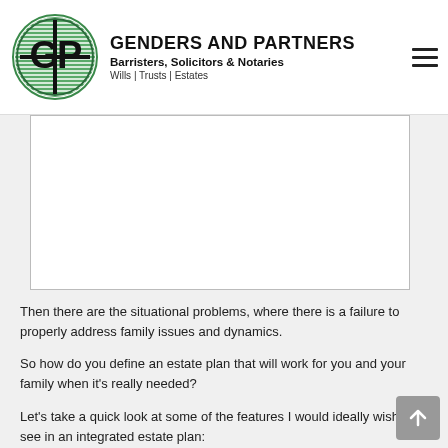GENDERS AND PARTNERS Barristers, Solicitors & Notaries Wills | Trusts | Estates
[Figure (photo): A white rectangular image placeholder with a light gray border, representing a photo or image on the webpage.]
Then there are the situational problems, where there is a failure to properly address family issues and dynamics.
So how do you define an estate plan that will work for you and your family when it's really needed?
Let's take a quick look at some of the features I would ideally wish to see in an integrated estate plan:
It should give you access and control over your property while you are alive and well. This won't be the case if your assets are jointly titled with someone